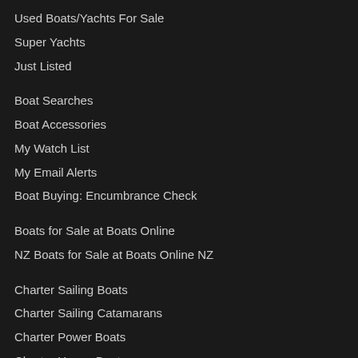Used Boats/Yachts For Sale
Super Yachts
Just Listed
Boat Searches
Boat Accessories
My Watch List
My Email Alerts
Boat Buying: Encumbrance Check
Boats for Sale at Boats Online
NZ Boats for Sale at Boats Online NZ
Charter Sailing Boats
Charter Sailing Catamarans
Charter Power Boats
Charter House Boats
Boat Finance
Boat Terminology